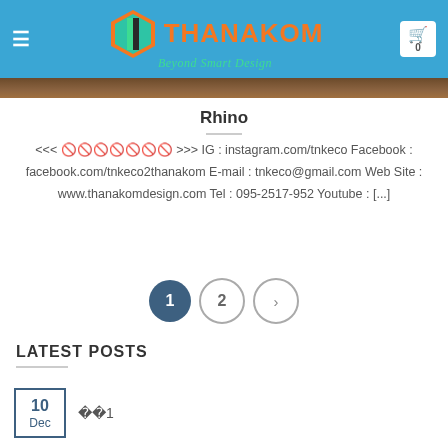THANAKOM Beyond Smart Design
Rhino
<<< ??????????????? >>> IG : instagram.com/tnkeco Facebook : facebook.com/tnkeco2thanakom E-mail : tnkeco@gmail.com Web Site : www.thanakomdesign.com Tel : 095-2517-952 Youtube : [...]
LATEST POSTS
10 Dec — ??1